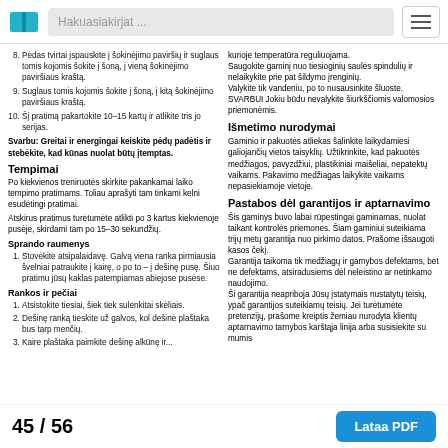Hakuasiakirjat ...
8. Pėdas tvirtai įspauskite į šokinėjimo paviršių ir suglaus tomis kojomis šokite į šoną, į vieną šokinėjimo paviršiaus kraštą.
9. Suglaus tomis kojomis šokite į šoną, į kitą šokinėjimo paviršiaus kraštą.
10. Šį pratimą pakartokite 10–15 kartų ir atlikite tris jo serijas.
Svarbu: Greitai ir energingai keiskite pėdų padėtis ir stebėkite, kad kūnas nuolat būtų įtemptas.
Tempimai
Po kiekvienos treniruotės skirkite pakankamai laiko tempimo pratimams. Toliau aprašyti tam tinkami kelni esudėtingi pratimai.
Atskirus pratimus turėtumėte atlikti po 3 kartus kiekvienoje pusėje, skirdami tam po 15–30 sekundžių.
Sprando raumenys
1. Stovėkite atsipalaidavę. Galvą viena ranka pirmiausia švelniai patraukite į kairę, o po to – į dešinę pusę. Šiuo pratimu jūsų kaklas patempiamas abiejose pusėse.
Rankos ir pečiai
1. Atsistokite tiesiai, šiek tiek sulenkitai skėliais.
2. Dešinę ranką tieskite už galvos, kol dešinė plaštaka bus tarp menčių.
3. Kaire plaštaka paimkite dešinę alkūnę ir...
kurioje temperatūra reguliuojama.
Saugokite gaminį nuo tiesioginių saulės spindulių ir nelaikykite prie pat šildymo įrenginių.
Valykite tik vandeniu, po to nusausinkite šluoste.
SVARBU! Jokiu būdu nevalykite šiurkščiomis valomosios priemonėmis.
Išmetimo nurodymai
Gaminio ir pakuotės atliekas šalinkite laikydamiesi galiojančių vietos taisyklių. Užtikrinkite, kad pakuotės medžiagos, pavyzdžiui, plastikiniai maišeliai, nepatektų vaikams. Pakavimo medžiagas laikykite vaikams nepasiekiamoje vietoje.
Pastabos dėl garantijos ir aptarnavimo
Šis gaminys buvo labai rūpestingai gaminamas, nuolat taikant kontrolės priemones. Šiam gaminiui suteikiama trijų metų garantija nuo pirkimo datos. Prašome išsaugoti kasos čekį.
Garantija taikoma tik medžiagų ir gamybos defektams, bet ne defektams, atsiradusiems dėl neleistino ar netinkamo naudojimo.
Ši garantija neapriboja Jūsų įstatymais nustatytų teisių, ypač garantijos suteikiamų teisių. Jei turėtumėte pretenzijų, prašome kreiptis žemiau nurodyta klientų aptarnavimo tarnybos karštąja linija arba susisiekite su mumis
45 / 56